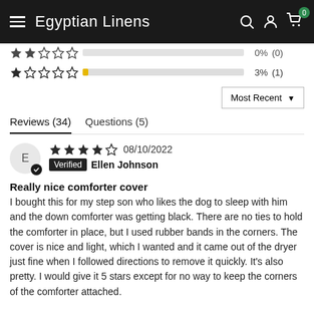Egyptian Linens
| Stars | Bar | Percent | Count |
| --- | --- | --- | --- |
| 2 stars | 0% | 0% | (0) |
| 1 star | 3% | 3% | (1) |
Most Recent ▼
Reviews (34)   Questions (5)
★★★★☆ 08/10/2022
Verified Ellen Johnson
Really nice comforter cover
I bought this for my step son who likes the dog to sleep with him and the down comforter was getting black. There are no ties to hold the comforter in place, but I used rubber bands in the corners. The cover is nice and light, which I wanted and it came out of the dryer just fine when I followed directions to remove it quickly. It's also pretty. I would give it 5 stars except for no way to keep the corners of the comforter attached.